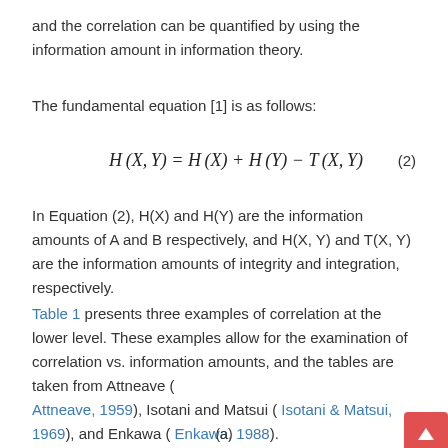and the correlation can be quantified by using the information amount in information theory.
The fundamental equation [1] is as follows:
In Equation (2), H(X) and H(Y) are the information amounts of A and B respectively, and H(X, Y) and T(X, Y) are the information amounts of integrity and integration, respectively.
Table 1 presents three examples of correlation at the lower level. These examples allow for the examination of correlation vs. information amounts, and the tables are taken from Attneave ( Attneave, 1959), Isotani and Matsui ( Isotani & Matsui, 1969), and Enkawa ( Enkawa, 1988).
(a)